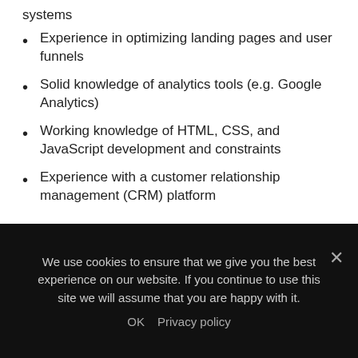systems
Experience in optimizing landing pages and user funnels
Solid knowledge of analytics tools (e.g. Google Analytics)
Working knowledge of HTML, CSS, and JavaScript development and constraints
Experience with a customer relationship management (CRM) platform
Lipton Media is a specialist media and tech recruitment agency based in London. We specialise in all forms of b2b sales, digital marketing, content and creative positions, across conferences, exhibitions, awards, summits, publishing, digital,
We use cookies to ensure that we give you the best experience on our website. If you continue to use this site we will assume that you are happy with it.
OK   Privacy policy